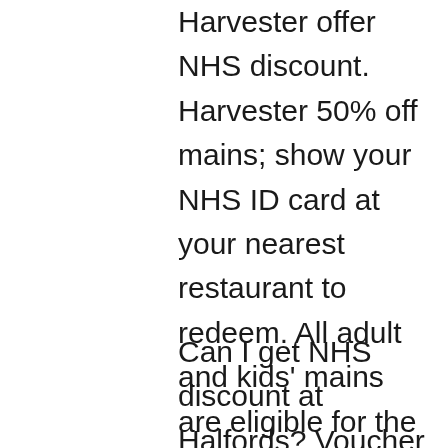Harvester offer NHS discount. Harvester 50% off mains; show your NHS ID card at your nearest restaurant to redeem. All adult and kids' mains are eligible for the 50% off deal, and both new and existing customerts can take advantage.
Can I get NHS discount at Halfords? Voucher can be used with Halfords Click & Collect